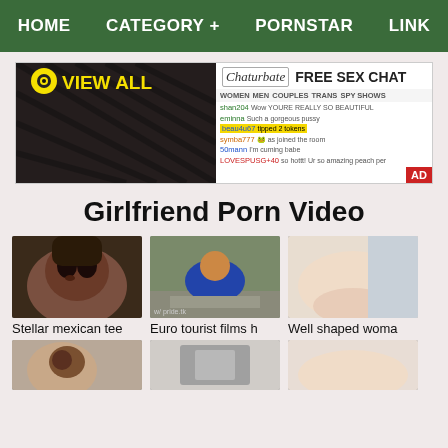HOME   CATEGORY +   PORNSTAR   LINK
[Figure (screenshot): Advertisement banner with two panels: left shows adult webcam thumbnail with 'VIEW ALL' overlay text and eye icon; right shows Chaturbate free sex chat advertisement with chat messages]
Girlfriend Porn Video
[Figure (photo): Adult video thumbnail - close-up face]
Stellar mexican tee
[Figure (photo): Adult video thumbnail - outdoor scene]
Euro tourist films h
[Figure (photo): Adult video thumbnail - close-up body]
Well shaped woma
[Figure (photo): Adult video thumbnail - partially visible]
[Figure (photo): Adult video thumbnail - partially visible]
[Figure (photo): Adult video thumbnail - partially visible]